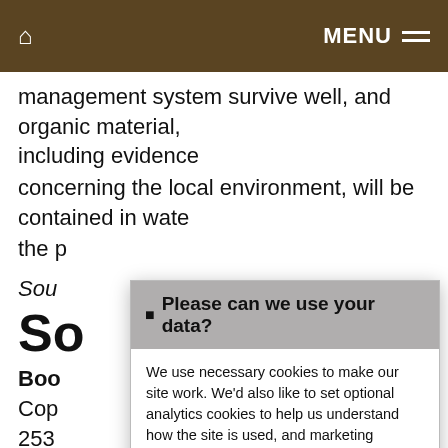🏠  MENU ≡
management system survive well, and organic material, including evidence
concerning the local environment, will be contained in wate
the p
Sou
So
Boo
Cop
253
Farm ... 9,
(191
Other
H B M C Listing: Earl Soham, TM26SW 8/29,
Hinton, B N (1992)
[Figure (screenshot): Cookie consent modal dialog with title 'Please can we use your data?', body text about necessary, analytics and marketing cookies, a 'More information' link, and two buttons: 'Accept Cookies' (blue) and 'Customise Cookies' (black).]